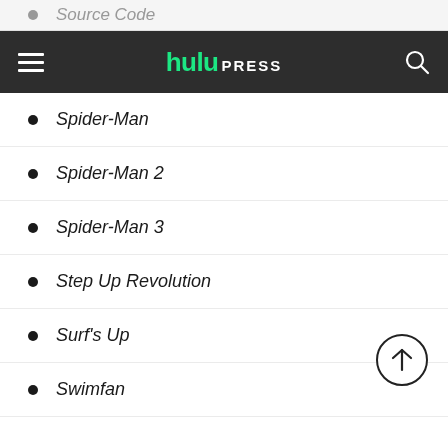Source Code
hulu PRESS
Spider-Man
Spider-Man 2
Spider-Man 3
Step Up Revolution
Surf's Up
Swimfan